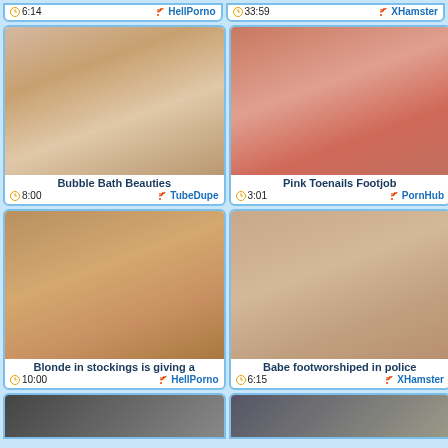[Figure (photo): Top left partial card: time 6:14, source HellPorno]
[Figure (photo): Top right partial card: time 33:59, source XHamster]
[Figure (photo): Bubble Bath Beauties thumbnail]
Bubble Bath Beauties
8:00  TubeDupe
[Figure (photo): Pink Toenails Footjob thumbnail]
Pink Toenails Footjob
3:01  PornHub
[Figure (photo): Blonde in stockings is giving a thumbnail]
Blonde in stockings is giving a
10:00  HellPorno
[Figure (photo): Babe footworshiped in police thumbnail]
Babe footworshiped in police
6:15  XHamster
[Figure (photo): Bottom left partial thumbnail - cut off]
[Figure (photo): Bottom right partial thumbnail - cut off]